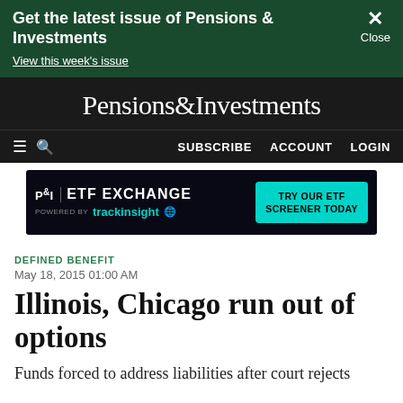Get the latest issue of Pensions & Investments
View this week's issue
Pensions&Investments
SUBSCRIBE   ACCOUNT   LOGIN
[Figure (screenshot): P&I ETF EXCHANGE advertisement banner — POWERED BY trackinsight — TRY OUR ETF SCREENER TODAY]
DEFINED BENEFIT
May 18, 2015 01:00 AM
Illinois, Chicago run out of options
Funds forced to address liabilities after court rejects